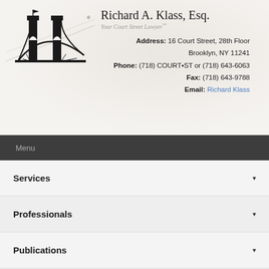[Figure (logo): Brooklyn Bridge logo icon — black silhouette of a suspension bridge with flag on top]
Richard A. Klass, Esq.
Your Court Street Lawyer™
Address: 16 Court Street, 28th Floor
Brooklyn, NY 11241
Phone: (718) COURT•ST or (718) 643-6063
Fax: (718) 643-9788
Email: Richard Klass
Menu
Services
Professionals
Publications
Contact Us